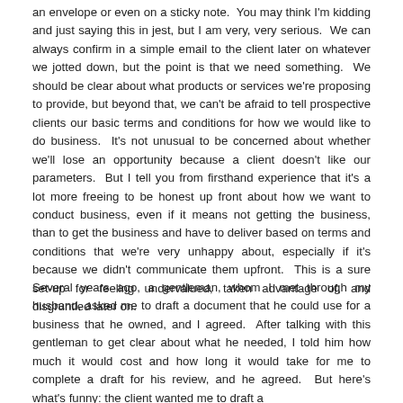an envelope or even on a sticky note.  You may think I'm kidding and just saying this in jest, but I am very, very serious.  We can always confirm in a simple email to the client later on whatever we jotted down, but the point is that we need something.  We should be clear about what products or services we're proposing to provide, but beyond that, we can't be afraid to tell prospective clients our basic terms and conditions for how we would like to do business.  It's not unusual to be concerned about whether we'll lose an opportunity because a client doesn't like our parameters.  But I tell you from firsthand experience that it's a lot more freeing to be honest up front about how we want to conduct business, even if it means not getting the business, than to get the business and have to deliver based on terms and conditions that we're very unhappy about, especially if it's because we didn't communicate them upfront.  This is a sure set-up for feeling undervalued, taken advantage of, and disgruntled later on.
Several years ago, a gentleman, whom I met through my husband, asked me to draft a document that he could use for a business that he owned, and I agreed.  After talking with this gentleman to get clear about what he needed, I told him how much it would cost and how long it would take for me to complete a draft for his review, and he agreed.  But here's what's funny: the client wanted me to draft a